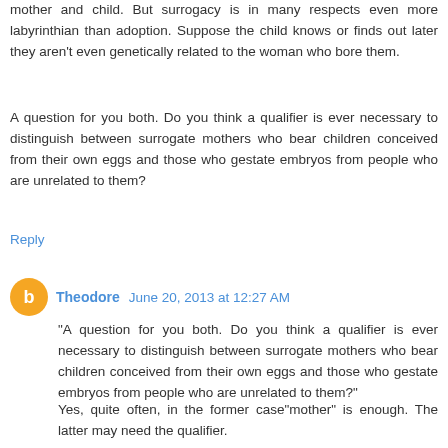mother and child. But surrogacy is in many respects even more labyrinthian than adoption. Suppose the child knows or finds out later they aren't even genetically related to the woman who bore them.
A question for you both. Do you think a qualifier is ever necessary to distinguish between surrogate mothers who bear children conceived from their own eggs and those who gestate embryos from people who are unrelated to them?
Reply
Theodore  June 20, 2013 at 12:27 AM
"A question for you both. Do you think a qualifier is ever necessary to distinguish between surrogate mothers who bear children conceived from their own eggs and those who gestate embryos from people who are unrelated to them?"
Yes, quite often, in the former case"mother" is enough. The latter may need the qualifier.
Reply